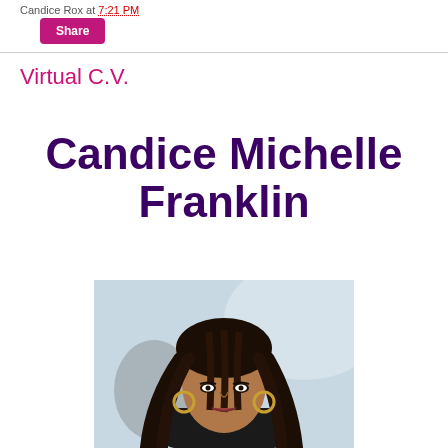Candice Rox at 7:21 PM
Share
Virtual C.V.
Candice Michelle Franklin
[Figure (photo): Professional headshot of Candice Michelle Franklin, a young woman with braided hair and hoop earrings, wearing dark clothing, against a light blurred background.]